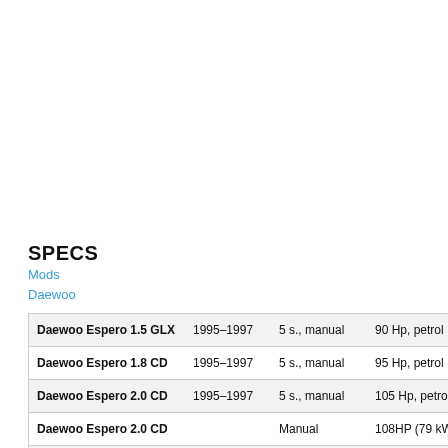SPECS
Mods
Daewoo
| Model | Years | Transmission | Engine |
| --- | --- | --- | --- |
| Daewoo Espero 1.5 GLX | 1995–1997 | 5 s., manual | 90 Hp, petrol |
| Daewoo Espero 1.8 CD | 1995–1997 | 5 s., manual | 95 Hp, petrol |
| Daewoo Espero 2.0 CD | 1995–1997 | 5 s., manual | 105 Hp, petrol |
| Daewoo Espero 2.0 CD |  | Manual | 108HP (79 kW) @ 5800 rpm |
| Daewoo Bucrane |  | automatic | 243HP (179 kW) @ 5500 rpm |